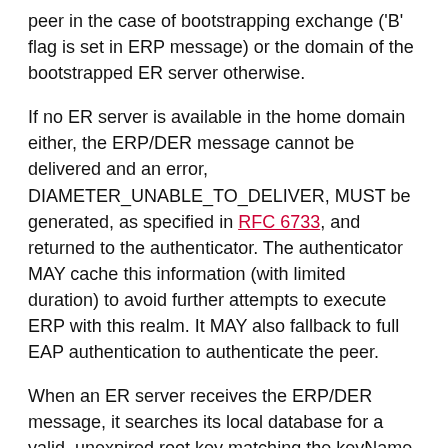peer in the case of bootstrapping exchange ('B' flag is set in ERP message) or the domain of the bootstrapped ER server otherwise.
If no ER server is available in the home domain either, the ERP/DER message cannot be delivered and an error, DIAMETER_UNABLE_TO_DELIVER, MUST be generated, as specified in RFC 6733, and returned to the authenticator. The authenticator MAY cache this information (with limited duration) to avoid further attempts to execute ERP with this realm. It MAY also fallback to full EAP authentication to authenticate the peer.
When an ER server receives the ERP/DER message, it searches its local database for a valid, unexpired root key matching the keyName part of the User-Name AVP. If such key is found, the ER server processes the
ERP message, as described in RFC 6696, then creates the ERP/DEA answer, as described in Section 6. The re-authentication Master Session Key (rMSK) is included in